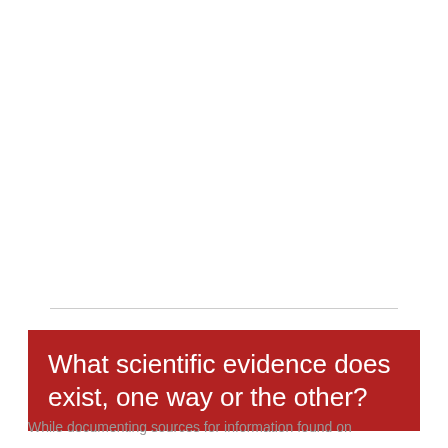What scientific evidence does exist, one way or the other?
While documenting sources for information found on